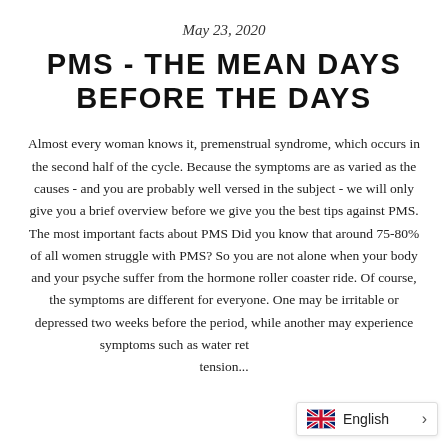May 23, 2020
PMS - THE MEAN DAYS BEFORE THE DAYS
Almost every woman knows it, premenstrual syndrome, which occurs in the second half of the cycle. Because the symptoms are as varied as the causes - and you are probably well versed in the subject - we will only give you a brief overview before we give you the best tips against PMS. The most important facts about PMS Did you know that around 75-80% of all women struggle with PMS? So you are not alone when your body and your psyche suffer from the hormone roller coaster ride. Of course, the symptoms are different for everyone. One may be irritable or depressed two weeks before the period, while another may experience symptoms such as water retention, headaches, tension...